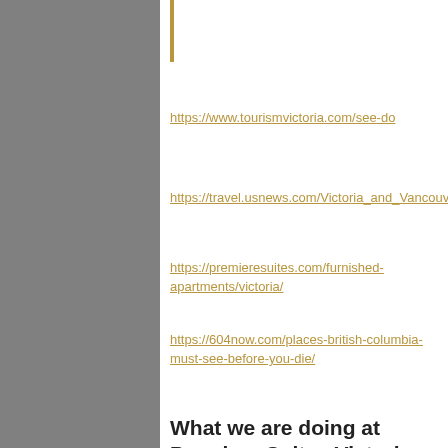https://www.tourismvictoria.com/see-do
https://travel.usnews.com/Victoria_and_Vancouver_Is
https://premieresuites.com/furnished-apartments/victoria/
https://604now.com/places-british-columbia-must-see-before-you-die/
What we are doing at Premiere Suites Victoria
By Victoria / 16th March, 2020 / Uncategorized / Off